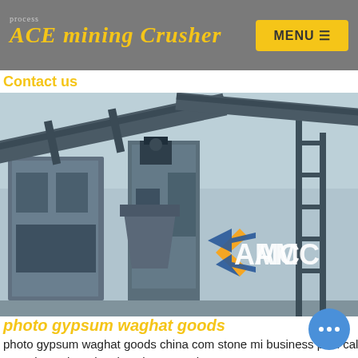ACE mining Crusher | MENU
Contact us
[Figure (photo): Industrial mining crusher machinery plant with conveyor belts, large metal structures, and AMC logo overlay]
photo gypsum waghat goods
photo gypsum waghat goods china com stone mi business plan calcinated kaolin processing plan machinary We Are Experienced. Vorken is quite. Get Price.